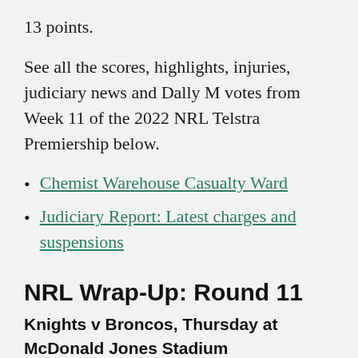13 points.
See all the scores, highlights, injuries, judiciary news and Dally M votes from Week 11 of the 2022 NRL Telstra Premiership below.
Chemist Warehouse Casualty Ward
Judiciary Report: Latest charges and suspensions
NRL Wrap-Up: Round 11
Knights v Broncos, Thursday at McDonald Jones Stadium